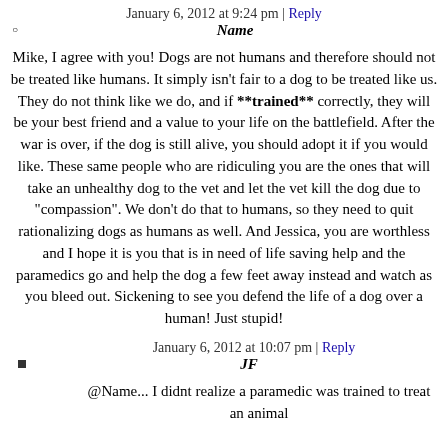January 6, 2012 at 9:24 pm | Reply
Name
Mike, I agree with you! Dogs are not humans and therefore should not be treated like humans. It simply isn't fair to a dog to be treated like us. They do not think like we do, and if **trained** correctly, they will be your best friend and a value to your life on the battlefield. After the war is over, if the dog is still alive, you should adopt it if you would like. These same people who are ridiculing you are the ones that will take an unhealthy dog to the vet and let the vet kill the dog due to "compassion". We don't do that to humans, so they need to quit rationalizing dogs as humans as well. And Jessica, you are worthless and I hope it is you that is in need of life saving help and the paramedics go and help the dog a few feet away instead and watch as you bleed out. Sickening to see you defend the life of a dog over a human! Just stupid!
January 6, 2012 at 10:07 pm | Reply
JF
@Name... I didnt realize a paramedic was trained to treat an animal